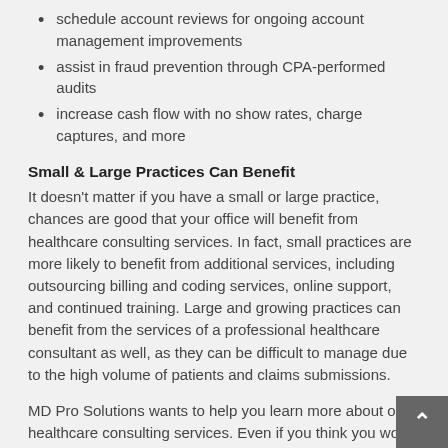schedule account reviews for ongoing account management improvements
assist in fraud prevention through CPA-performed audits
increase cash flow with no show rates, charge captures, and more
Small & Large Practices Can Benefit
It doesn't matter if you have a small or large practice, chances are good that your office will benefit from healthcare consulting services. In fact, small practices are more likely to benefit from additional services, including outsourcing billing and coding services, online support, and continued training. Large and growing practices can benefit from the services of a professional healthcare consultant as well, as they can be difficult to manage due to the high volume of patients and claims submissions.
MD Pro Solutions wants to help you learn more about our healthcare consulting services. Even if you think you won't be needing ENT billing and coding training for your staff, you might be surprised at the improvements that can be made with a little bit of education and support. Our goal is to